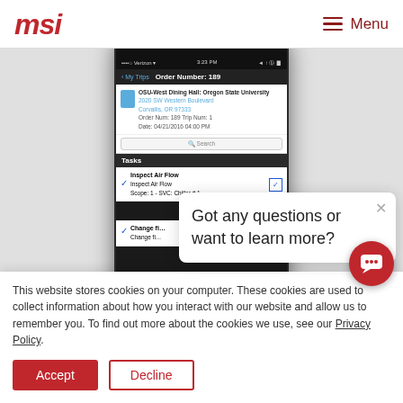msi  Menu
[Figure (screenshot): Samsung smartphone showing MSI mobile app with Order Number 189, OSU-West Dining Hall Oregon State University location, Tasks list including Inspect Air Flow and Change filter items with blue checkboxes]
This website stores cookies. These cookies are used to how you interact with browsing experience cookies we use, see our Privacy Policy.
[Figure (screenshot): Chat popup widget saying 'Got any questions or want to learn more?' with close X button]
Accept
Decline